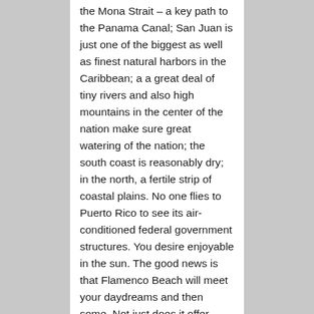the Mona Strait – a key path to the Panama Canal; San Juan is just one of the biggest as well as finest natural harbors in the Caribbean; a a great deal of tiny rivers and also high mountains in the center of the nation make sure great watering of the nation; the south coast is reasonably dry; in the north, a fertile strip of coastal plains. No one flies to Puerto Rico to see its air-conditioned federal government structures. You desire enjoyable in the sun. The good news is that Flamenco Beach will meet your daydreams and then some. Not just does it offer white sand as well as blue water that shimmies